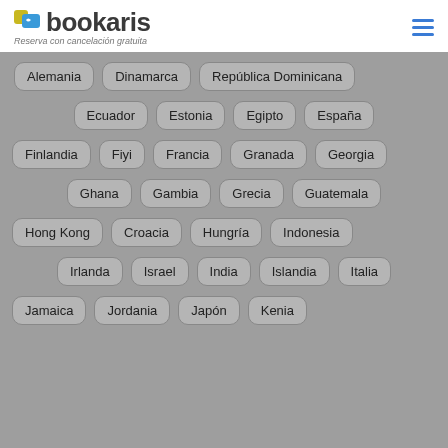bookaris — Reserva con cancelación gratuita
Alemania
Dinamarca
República Dominicana
Ecuador
Estonia
Egipto
España
Finlandia
Fiyi
Francia
Granada
Georgia
Ghana
Gambia
Grecia
Guatemala
Hong Kong
Croacia
Hungría
Indonesia
Irlanda
Israel
India
Islandia
Italia
Jamaica
Jordania
Japón
Kenia